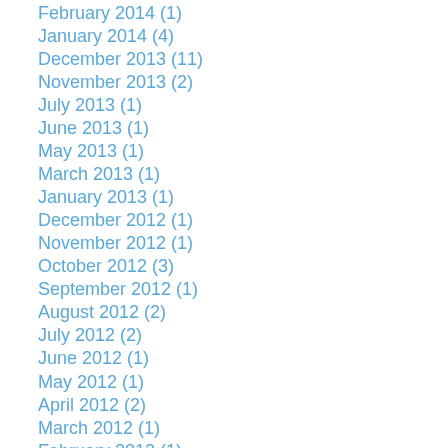February 2014 (1)
January 2014 (4)
December 2013 (11)
November 2013 (2)
July 2013 (1)
June 2013 (1)
May 2013 (1)
March 2013 (1)
January 2013 (1)
December 2012 (1)
November 2012 (1)
October 2012 (3)
September 2012 (1)
August 2012 (2)
July 2012 (2)
June 2012 (1)
May 2012 (1)
April 2012 (2)
March 2012 (1)
February 2012 (1)